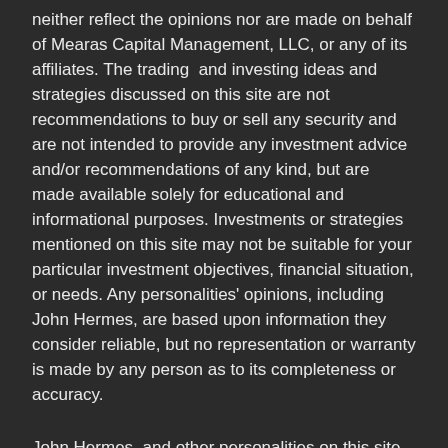neither reflect the opinions nor are made on behalf of Mearas Capital Management, LLC, or any of its affiliates. The trading  and investing ideas and strategies discussed on this site are not recommendations to buy or sell any security and are not intended to provide any investment advice and/or recommendations of any kind, but are made available solely for educational and informational purposes. Investments or strategies mentioned on this site may not be suitable for your particular investment objectives, financial situation, or needs. Any personalities' opinions, including John Hermes, are based upon information they consider reliable, but no representation or warranty is made by any person as to its completeness or accuracy.
John Hermes, and other personalities on this site, may hold positions in the assets discussed on this site, including positions not discussed on this site, and in other securities.